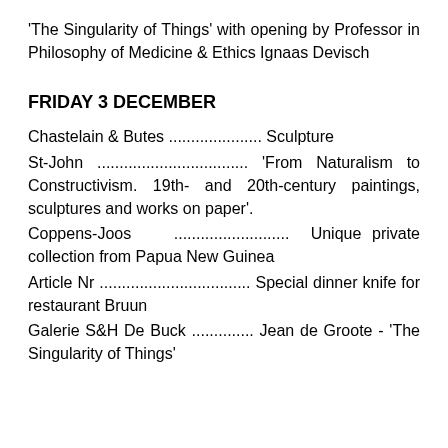'The Singularity of Things' with opening by Professor in Philosophy of Medicine & Ethics Ignaas Devisch
FRIDAY 3 DECEMBER
Chastelain & Butes ..................... Sculpture
St-John .................................. 'From Naturalism to Constructivism. 19th- and 20th-century paintings, sculptures and works on paper'.
Coppens-Joos ........................... Unique private collection from Papua New Guinea
Article Nr .................................. Special dinner knife for restaurant Bruun
Galerie S&H De Buck .............. Jean de Groote - 'The Singularity of Things'